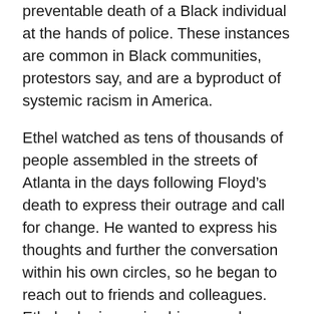preventable death of a Black individual at the hands of police. These instances are common in Black communities, protestors say, and are a byproduct of systemic racism in America.
Ethel watched as tens of thousands of people assembled in the streets of Atlanta in the days following Floyd’s death to express their outrage and call for change. He wanted to express his thoughts and further the conversation within his own circles, so he began to reach out to friends and colleagues. Ethel, who is serving his second year on the board for United Way of Greater Atlanta’s Young Professional Leaders, says he sent a message to other YPL board members.
“Once I sent that message, I started to get a flood of responses from others telling me how they felt [that day],” he says. “Disenfranchised,” “Anxious,” “Afraid,” were some of the first words that Ethel says the group of YPL members expressed. But there are the disarray t...